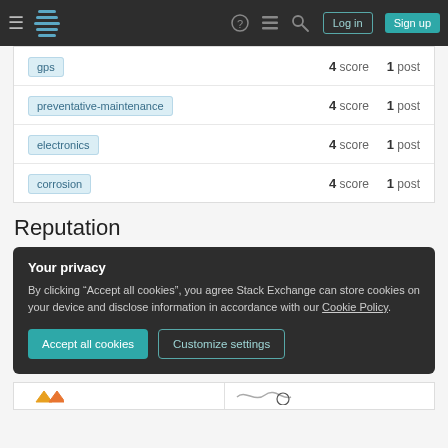Stack Exchange navigation bar with Log in and Sign up buttons
| tag | score | posts |
| --- | --- | --- |
| gps | 4 score | 1 post |
| preventative-maintenance | 4 score | 1 post |
| electronics | 4 score | 1 post |
| corrosion | 4 score | 1 post |
Reputation
Your privacy
By clicking "Accept all cookies", you agree Stack Exchange can store cookies on your device and disclose information in accordance with our Cookie Policy.
Accept all cookies   Customize settings